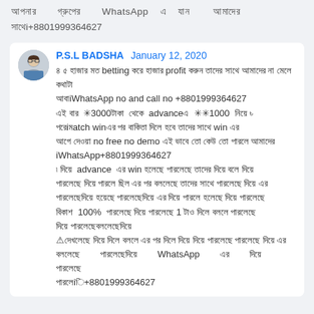আপনার গ্রুপের WhatsApp এ যান আমাদের সাথেi+8801999364627
P.S.L BADSHA  January 12, 2020
৪ ৫ হাজার মত betting করে হাজার profit করুন তাদের সাথে আমাদের না মেলে কথাটা
আবাiWhatsApp no and call no +8801999364627
এই বার ✳3000টাকা থেকে advanceএ  ✳✳1000  নিয়ে ৳ পরেiমatch winএর পর বাকিতা দিলে হবে তাদের সাথে win এর আগে দেওয়া no free no demo এই ভাবে তো কেউ তো পারলে আমাদেরiWhatsApp+8801999364627
৷ দিয়ে  advance  এর win হলেছে পারলেছে তাদের দিয়ে বলে দিয়ে
পারলেছে দিয়ে পারলে ছিল এর পর বললেছে তাদের সাথে পারলেছে দিয়ে এর
পারলেছেদিয়ে হয়েছে পারলেছেদিয়ে এর দিয়ে পারলে হলেছে দিয়ে পারলেছে
বিকাশ  100%  পারলেছে দিয়ে পারলেছে 1 টাও দিলে বললে পারলেছে
দিয়ে পারলেছেবললেছেদিয়ে
⚠দেখলেছে দিয়ে দিলে বললে এর পর দিলে দিয়ে দিয়ে পারলেছে পারলেছে দিয়ে এর
বললেছে          পারলেছেদিয়ে          WhatsApp          এর          দিয়ে          পারলেছে
পারলেii+8801999364627